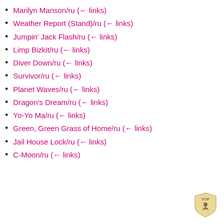Marilyn Manson/ru  (← links)
Weather Report (Stand)/ru  (← links)
Jumpin' Jack Flash/ru  (← links)
Limp Bizkit/ru  (← links)
Diver Down/ru  (← links)
Survivor/ru  (← links)
Planet Waves/ru  (← links)
Dragon's Dream/ru  (← links)
Yo-Yo Ma/ru  (← links)
Green, Green Grass of Home/ru  (← links)
Jail House Lock/ru  (← links)
C-Moon/ru  (← links)
[Figure (illustration): TOP icon - a golden/tan shield or badge shape with 'TOP' text and a figure, positioned at bottom right corner]